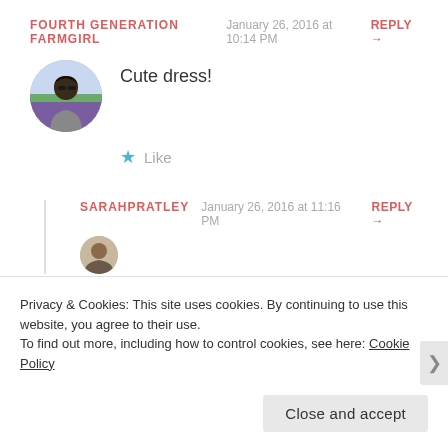FOURTH GENERATION FARMGIRL   January 26, 2016 at 10:14 PM   REPLY →
Cute dress!
★ Like
SARAHPRATLEY   January 26, 2016 at 11:16 PM   REPLY →
Privacy & Cookies: This site uses cookies. By continuing to use this website, you agree to their use.
To find out more, including how to control cookies, see here: Cookie Policy
Close and accept